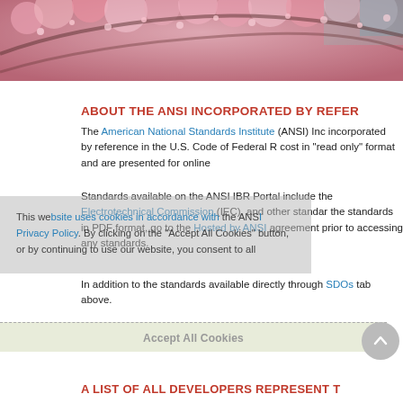[Figure (photo): Cherry blossom tree photo used as header banner image]
ABOUT THE ANSI INCORPORATED BY REFER
The American National Standards Institute (ANSI) Incorporated by reference in the U.S. Code of Federal R cost in "read only" format and are presented for online
Standards available on the ANSI IBR Portal include the Electrotechnical Commission (IEC), and other standards the standards in PDF format, go to the Hosted by ANSI agreement prior to accessing any standards.
In addition to the standards available directly through SDOs tab above.
This website uses cookies in accordance with the ANSI Privacy Policy. By clicking on the "Accept All Cookies" button, or by continuing to use our website, you consent to all
Accept All Cookies
A LIST OF ALL DEVELOPERS REPRESENT T